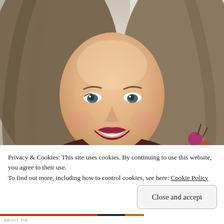[Figure (photo): Portrait photo of a smiling woman with long brown hair, wearing dark clothing and holding decorative berries, photographed against a white wall/door background.]
Privacy & Cookies: This site uses cookies. By continuing to use this website, you agree to their use.
To find out more, including how to control cookies, see here: Cookie Policy
Close and accept